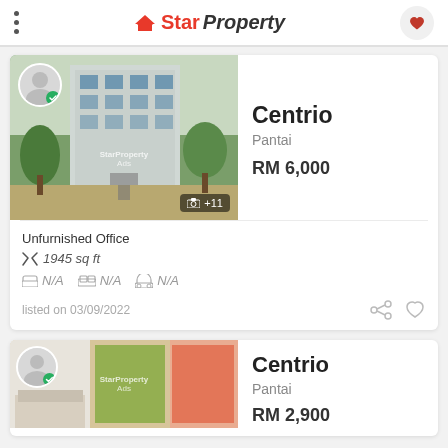StarProperty
[Figure (photo): Property listing photo of Centrio building exterior, with agent profile badge and +11 photos indicator]
Centrio
Pantai
RM 6,000
Unfurnished Office
1945 sq ft
N/A  N/A  N/A
listed on 03/09/2022
[Figure (photo): Property listing photo of Centrio interior with colorful artwork]
Centrio
Pantai
RM 2,900